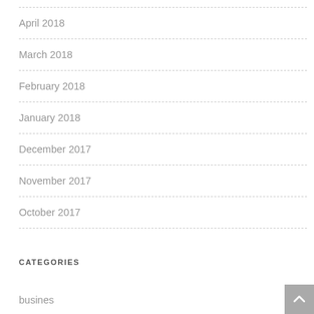April 2018
March 2018
February 2018
January 2018
December 2017
November 2017
October 2017
CATEGORIES
busines